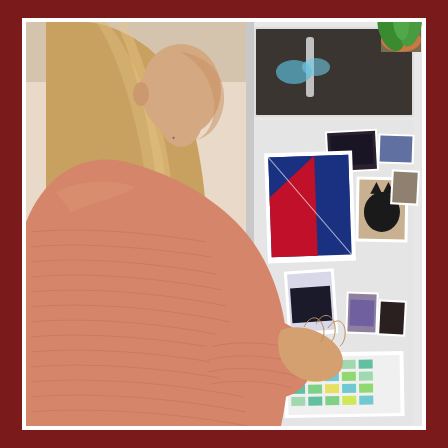[Figure (photo): A young woman with long blonde hair wearing a chunky pink/salmon knit sweater viewed from behind, reaching her hand toward a white refrigerator covered with polaroid photos and sticky notes/calendars. A plant is visible in the upper right corner. The scene is warmly lit with a candid, lifestyle aesthetic.]